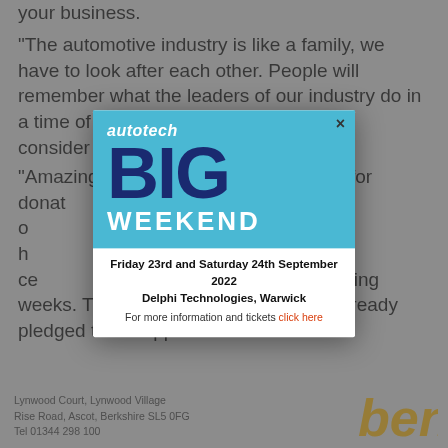your business.
“The automotive industry is like a family, we have to look after each other. People will remember what the leaders of our industry do in a time of crisis and I urge everyone to consider [... ] is there for [...]
“Amazing [...] pledges for donat[...] the first day [...] on makes a h[...] es and we’ll be ce[...] publicly over the coming weeks. Thank you to those who have already pledged their support.”
[Figure (infographic): Autotech BIG WEEKEND popup advertisement. Blue background with 'autotech' in white italic bold text, 'BIG' in large dark navy bold text, 'WEEKEND' in white bold text. Below: 'Friday 23rd and Saturday 24th September 2022 Delphi Technologies, Warwick. For more information and tickets click here' with 'click here' in orange/red. Close button (x) in top right corner.]
Lynwood Court, Lynwood Village
Rise Road, Ascot, Berkshire SL5 0FG
Tel 01344 298 100